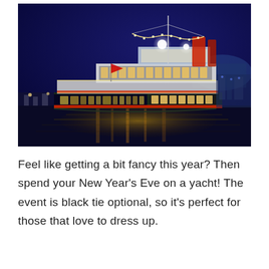[Figure (photo): A large illuminated yacht/cruise ship docked at night, with bright white and colored lights decorating the vessel against a deep blue night sky. The water below reflects golden light from the ship.]
Feel like getting a bit fancy this year? Then spend your New Year's Eve on a yacht! The event is black tie optional, so it's perfect for those that love to dress up.